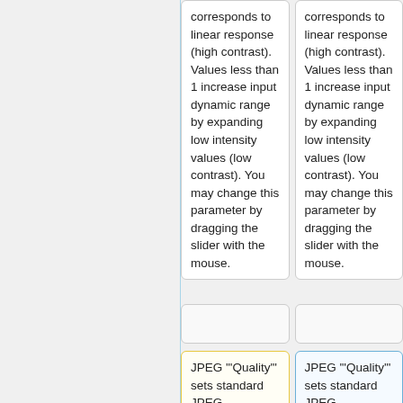corresponds to linear response (high contrast). Values less than 1 increase input dynamic range by expanding low intensity values (low contrast). You may change this parameter by dragging the slider with the mouse.
corresponds to linear response (high contrast). Values less than 1 increase input dynamic range by expanding low intensity values (low contrast). You may change this parameter by dragging the slider with the mouse.
JPEG '"Quality'" sets standard JPEG compression quality. The higher the quality the bigger is the...
JPEG '"Quality'" sets standard JPEG compression quality. The higher the quality the bigger is the...